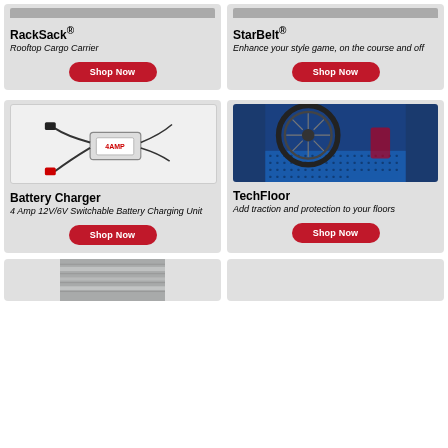RackSack®
Rooftop Cargo Carrier
StarBelt®
Enhance your style game, on the course and off
Battery Charger
4 Amp 12V/6V Switchable Battery Charging Unit
TechFloor
Add traction and protection to your floors